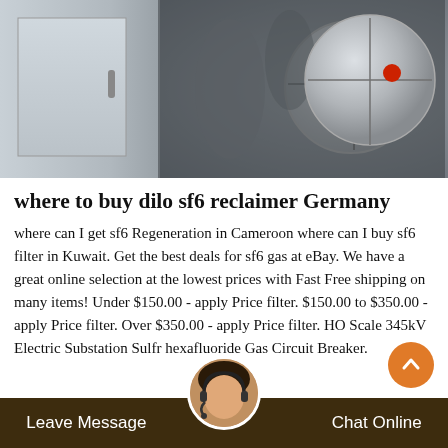[Figure (photo): Industrial SF6 gas equipment photo — grey metal cabinet on the left and a large white/grey spherical component (SF6 circuit breaker or reclaimer) with a red dot crosshair marker on the right, dark mechanical background.]
where to buy dilo sf6 reclaimer Germany
where can I get sf6 Regeneration in Cameroon where can I buy sf6 filter in Kuwait. Get the best deals for sf6 gas at eBay. We have a great online selection at the lowest prices with Fast Free shipping on many items! Under $150.00 - apply Price filter. $150.00 to $350.00 - apply Price filter. Over $350.00 - apply Price filter. HO Scale 345kV Electric Substation Sulfr hexafluoride Gas Circuit Breaker.
Leave Message   Chat Online